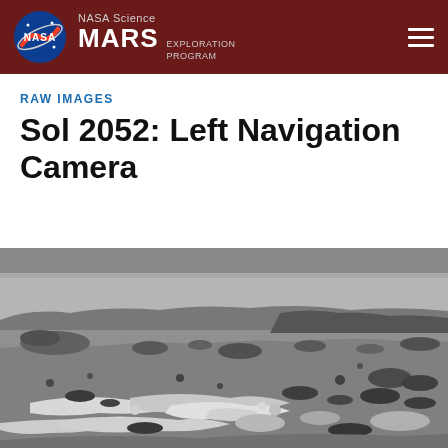NASA Science MARS EXPLORATION PROGRAM
RAW IMAGES
Sol 2052: Left Navigation Camera
[Figure (photo): Black and white raw navigation camera image of the Martian surface showing rocky terrain, scattered stones, and a ridgeline in the background. Taken by Curiosity rover's Left Navigation Camera on Sol 2052.]